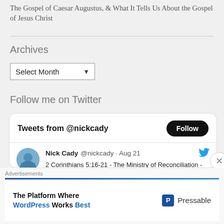The Gospel of Caesar Augustus, & What It Tells Us About the Gospel of Jesus Christ
Archives
Select Month
Follow me on Twitter
[Figure (screenshot): Twitter widget showing 'Tweets from @nickcady' with a Follow button and a tweet from Nick Cady @nickcady · Aug 21: '2 Corinthians 5:16-21 - The Ministry of Reconciliation - 1st Service - W... youtu.be/8Uya_0d5fDY via @YouTube']
Advertisements
[Figure (other): Advertisement: The Platform Where WordPress Works Best - Pressable]